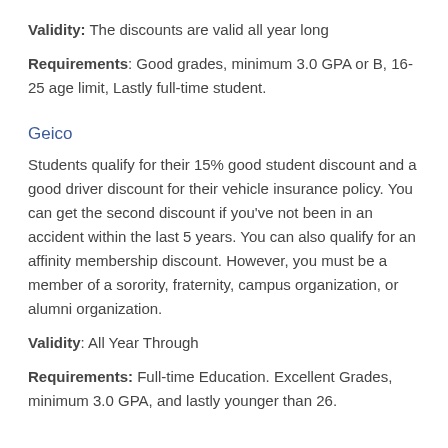Validity:  The discounts are valid all year long
Requirements: Good grades, minimum 3.0 GPA or B, 16-25 age limit, Lastly full-time student.
Geico
Students qualify for their 15% good student discount and a good driver discount for their vehicle insurance policy. You can get the second discount if you’ve not been in an accident within the last 5 years. You can also qualify for an affinity membership discount. However, you must be a member of a sorority, fraternity, campus organization, or alumni organization.
Validity: All Year Through
Requirements: Full-time Education. Excellent Grades, minimum 3.0 GPA, and lastly younger than 26.